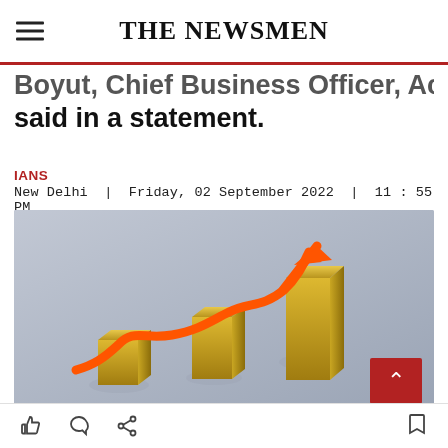THE NEWSMEN
Boyut, Chief Business Officer, Acuity.com, said in a statement.
IANS
New Delhi | Friday, 02 September 2022 | 11 : 55 PM
[Figure (photo): 3D illustration of three gold bar columns with an orange upward-trending arrow curve rising above them, symbolizing financial growth, on a light grey reflective surface.]
Like, Comment, Share, and Bookmark icons toolbar